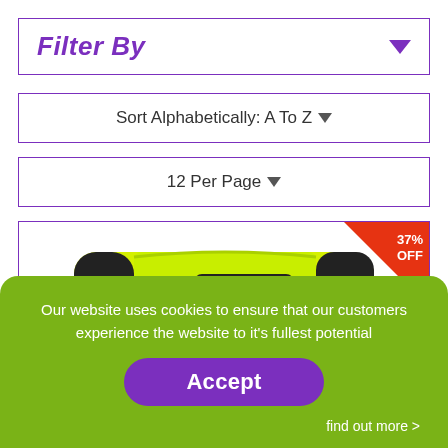Filter By
Sort Alphabetically: A To Z
12 Per Page
[Figure (photo): Yellow and black sports bag/roll with velcro strap, shown with a 37% OFF discount badge in the top right corner]
Our website uses cookies to ensure that our customers experience the website to it's fullest potential
Accept
find out more >